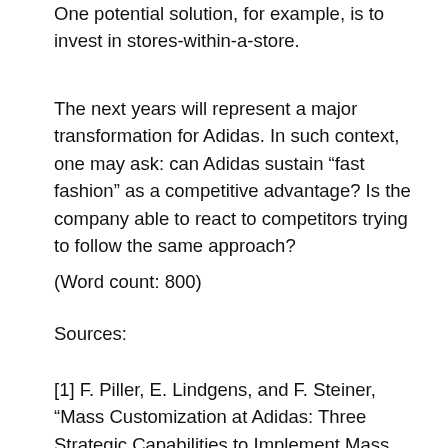One potential solution, for example, is to invest in stores-within-a-store.
The next years will represent a major transformation for Adidas. In such context, one may ask: can Adidas sustain “fast fashion” as a competitive advantage? Is the company able to react to competitors trying to follow the same approach?
(Word count: 800)
Sources:
[1] F. Piller, E. Lindgens, and F. Steiner, “Mass Customization at Adidas: Three Strategic Capabilities to Implement Mass Customization”